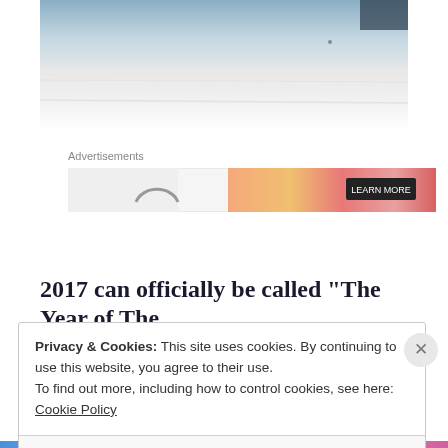[Figure (photo): Photo of a white surface or book/paper edge, partially cropped, with a dark background visible at top right corner.]
Advertisements
[Figure (other): Advertisement banner with peach/orange gradient on the right side and a dark arc icon on the left.]
2017 can officially be called “The Year of The
Privacy & Cookies: This site uses cookies. By continuing to use this website, you agree to their use.
To find out more, including how to control cookies, see here: Cookie Policy
Close and accept